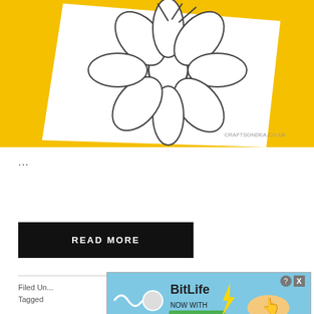[Figure (illustration): A yellow background with a white paper sheet showing a hand-drawn daisy flower outline with 6 petals and a circular center. A watermark reads 'CRAFTSONDEA.CO.UK' at the bottom right of the paper.]
...
READ MORE
Filed Un...
Tagged
[Figure (screenshot): Advertisement banner for BitLife game with blue background, showing 'BitLife NOW WITH GOD MODE' text, a lightning bolt icon, and cartoon hands pointing. Includes close X button and help ? button in the top right.]